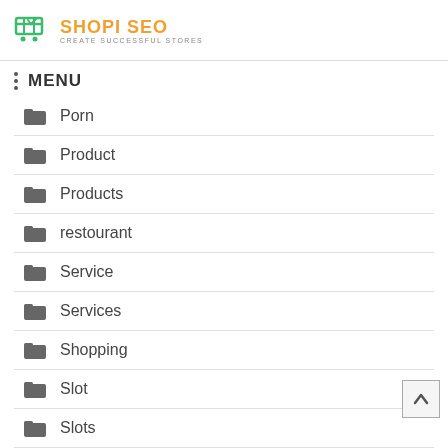SHOPI SEO — CREATE SUCCESSFUL STORES
MENU
Porn
Product
Products
restourant
Service
Services
Shopping
Slot
Slots
Sports